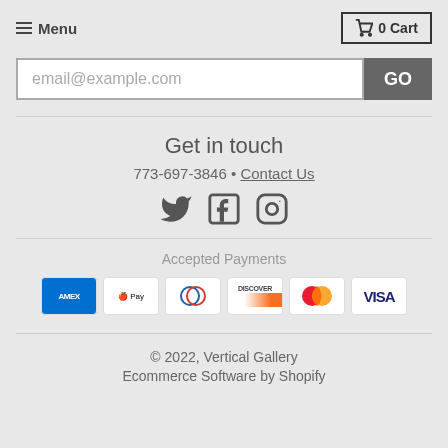Menu | 0 Cart
email@example.com
Get in touch
773-697-3846 • Contact Us
[Figure (illustration): Social media icons: Twitter, Facebook, Instagram]
Accepted Payments
[Figure (illustration): Payment method logos: American Express, Apple Pay, Diners Club, Discover, Mastercard, Visa]
© 2022, Vertical Gallery
Ecommerce Software by Shopify